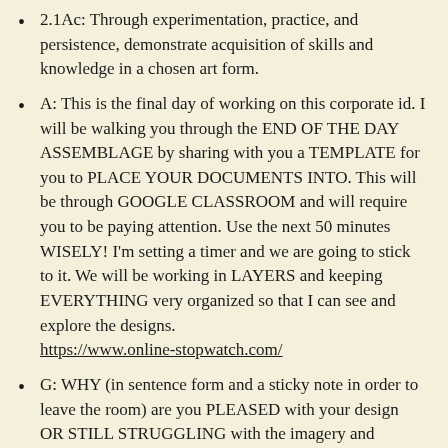2.1Ac: Through experimentation, practice, and persistence, demonstrate acquisition of skills and knowledge in a chosen art form.
A: This is the final day of working on this corporate id. I will be walking you through the END OF THE DAY ASSEMBLAGE by sharing with you a TEMPLATE for you to PLACE YOUR DOCUMENTS INTO. This will be through GOOGLE CLASSROOM and will require you to be paying attention. Use the next 50 minutes WISELY! I'm setting a timer and we are going to stick to it. We will be working in LAYERS and keeping EVERYTHING very organized so that I can see and explore the designs. https://www.online-stopwatch.com/
G: WHY (in sentence form and a sticky note in order to leave the room) are you PLEASED with your design OR STILL STRUGGLING with the imagery and assemblage of the work?